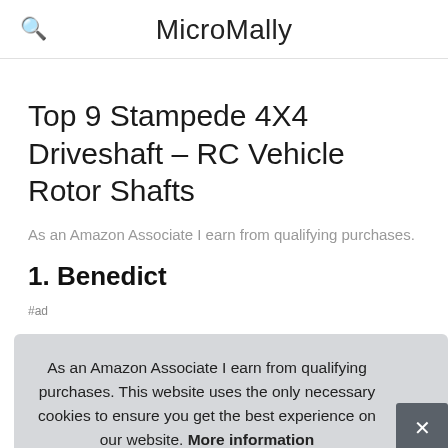MicroMally
Top 9 Stampede 4X4 Driveshaft – RC Vehicle Rotor Shafts
As an Amazon Associate I earn from qualifying purchases.
1. Benedict
As an Amazon Associate I earn from qualifying purchases. This website uses the only necessary cookies to ensure you get the best experience on our website. More information